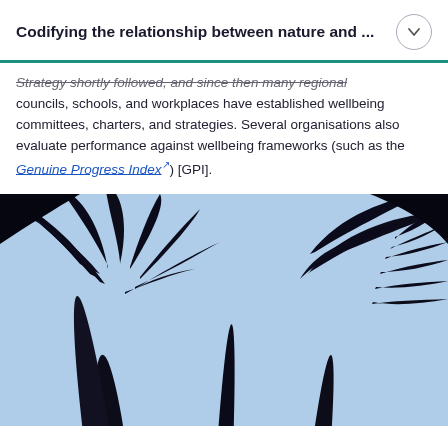Codifying the relationship between nature and ...
Strategy shortly followed, and since then many regional councils, schools, and workplaces have established wellbeing committees, charters, and strategies. Several organisations also evaluate performance against wellbeing frameworks (such as the Genuine Progress Index [GPI]).
[Figure (photo): Silhouette of palm trees and tropical foliage against a pale blue sky, photographed from below looking up.]